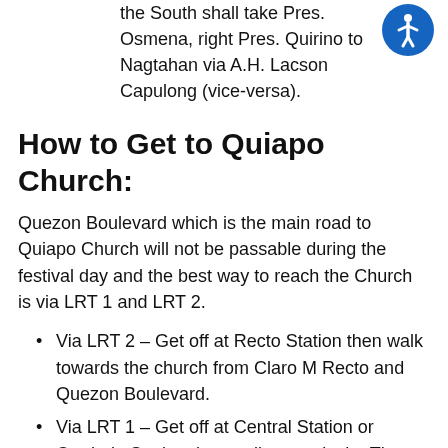All heavy vehicles/large trucks coming from the South shall take Pres. Osmena, right Pres. Quirino to Nagtahan via A.H. Lacson Capulong (vice-versa).
How to Get to Quiapo Church:
Quezon Boulevard which is the main road to Quiapo Church will not be passable during the festival day and the best way to reach the Church is via LRT 1 and LRT 2.
Via LRT 2 – Get off at Recto Station then walk towards the church from Claro M Recto and Quezon Boulevard.
Via LRT 1 – Get off at Central Station or Carriedo Station then walk towards the The